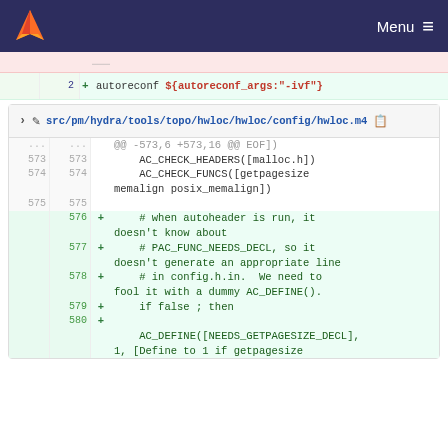GitLab — Menu
2 + autoreconf ${autoreconf_args:"-ivf"}
src/pm/hydra/tools/topo/hwloc/hwloc/config/hwloc.m4
@@ -573,6 +573,16 @@ EOF])
573  573      AC_CHECK_HEADERS([malloc.h])
574  574      AC_CHECK_FUNCS([getpagesize memalign posix_memalign])
575  575
576  +      # when autoheader is run, it doesn't know about
577  +      # PAC_FUNC_NEEDS_DECL, so it doesn't generate an appropriate line
578  +      # in config.h.in.  We need to fool it with a dummy AC_DEFINE().
579  +      if false ; then
580  +
           AC_DEFINE([NEEDS_GETPAGESIZE_DECL], 1, [Define to 1 if getpagesize